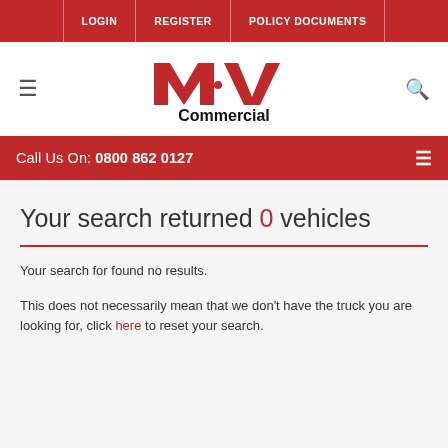LOGIN | REGISTER | POLICY DOCUMENTS
[Figure (logo): MRV Commercial logo with red stylized M and V letters and black 'Commercial' text below]
Call Us On: 0800 862 0127
Your search returned 0 vehicles
Your search for found no results.
This does not necessarily mean that we don't have the truck you are looking for, click here to reset your search.